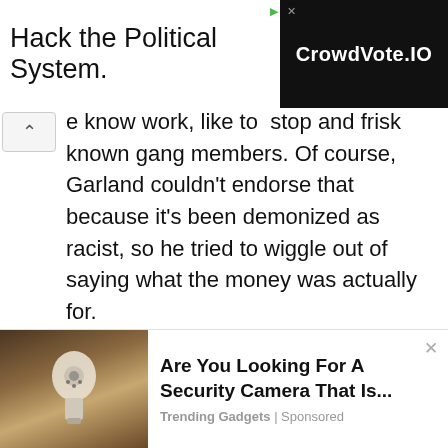[Figure (screenshot): Advertisement banner: 'Hack the Political System.' on left, 'CrowdVote.IO' logo on black background on right]
e know work, like to stop and frisk known gang members. Of course, Garland couldn't endorse that because it's been demonized as racist, so he tried to wiggle out of saying what the money was actually for.
[Figure (screenshot): Bottom advertisement showing a security camera product (light bulb shaped camera) with text: 'Are You Looking For A Security Camera That Is...' by Trending Gadgets | Sponsored]